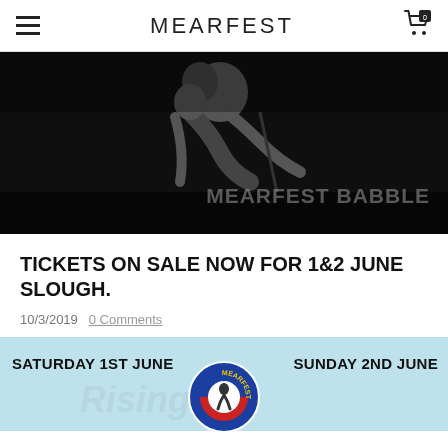MEARFEST
[Figure (photo): Black and white concert photo of a performer holding a young child on stage with a microphone, with text overlay 'MEARFEST BABBLE']
TICKETS ON SALE NOW FOR 1&2 JUNE SLOUGH.
10/3/2019   0 Comments
[Figure (infographic): Event banner with light blue background showing 'SATURDAY 1ST JUNE' on the left, 'SUNDAY 2ND JUNE' on the right, and a circular Mearfest logo in the center bottom]